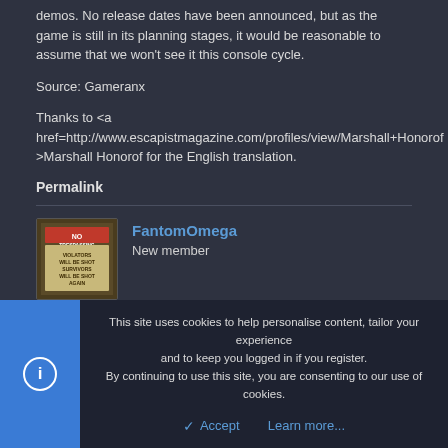demos. No release dates have been announced, but as the game is still in its planning stages, it would be reasonable to assume that we won't see it this console cycle.
Source: Gameranx
Thanks to <a href=http://www.escapistmagazine.com/profiles/view/Marshall+Honorof >Marshall Honorof for the English translation.
Permalink
FantomOmega
New member
This site uses cookies to help personalise content, tailor your experience and to keep you logged in if you register.
By continuing to use this site, you are consenting to our use of cookies.
Accept   Learn more...